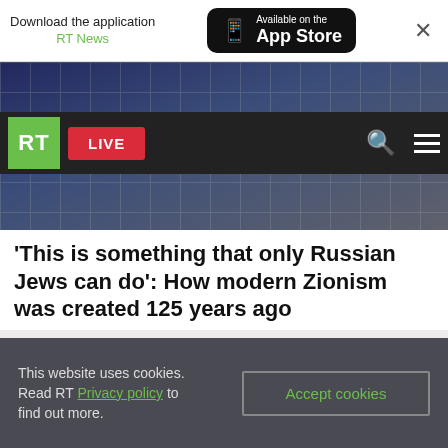Download the application RT News — Available on the App Store
[Figure (screenshot): RT news website header with logo, LIVE button, search and menu icons over a dark hero image]
‘This is something that only Russian Jews can do’: How modern Zionism was created 125 years ago
FEATURE
[Figure (photo): Faded/blurred article image placeholder]
This website uses cookies. Read RT Privacy policy to find out more. Accept cookies